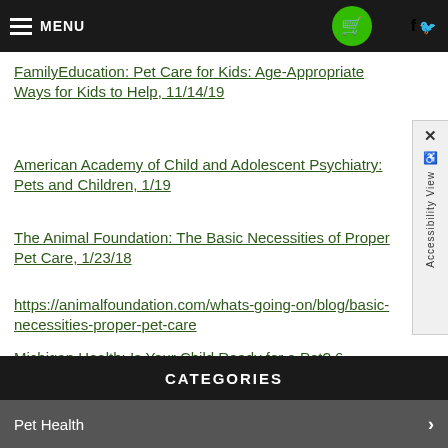MENU
FamilyEducation: Pet Care for Kids: Age-Appropriate Ways for Kids to Help, 11/14/19
American Academy of Child and Adolescent Psychiatry: Pets and Children, 1/19
The Animal Foundation: The Basic Necessities of Proper Pet Care, 1/23/18
https://animalfoundation.com/whats-going-on/blog/basic-necessities-proper-pet-care
Michigan Health: Is Your Child Ready for a Pet? 6 Questions to Ask, 12/16/19
CATEGORIES
Pet Health